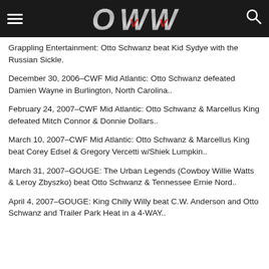OWW
Grappling Entertainment: Otto Schwanz beat Kid Sydye with the Russian Sickle.
December 30, 2006–CWF Mid Atlantic: Otto Schwanz defeated Damien Wayne in Burlington, North Carolina..
February 24, 2007–CWF Mid Atlantic: Otto Schwanz & Marcellus King defeated Mitch Connor & Donnie Dollars..
March 10, 2007–CWF Mid Atlantic: Otto Schwanz & Marcellus King beat Corey Edsel & Gregory Vercetti w/Shiek Lumpkin..
March 31, 2007–GOUGE: The Urban Legends (Cowboy Willie Watts & Leroy Zbyszko) beat Otto Schwanz & Tennessee Ernie Nord..
April 4, 2007–GOUGE: King Chilly Willy beat C.W. Anderson and Otto Schwanz and Trailer Park Heat in a 4-WAY..